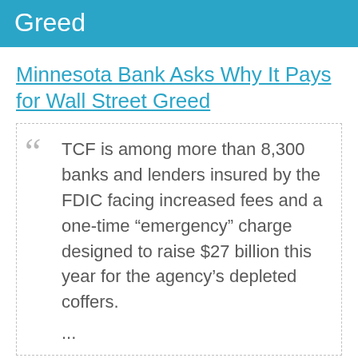Greed
Minnesota Bank Asks Why It Pays for Wall Street Greed
TCF is among more than 8,300 banks and lenders insured by the FDIC facing increased fees and a one-time “emergency” charge designed to raise $27 billion this year for the agency’s depleted coffers.
...